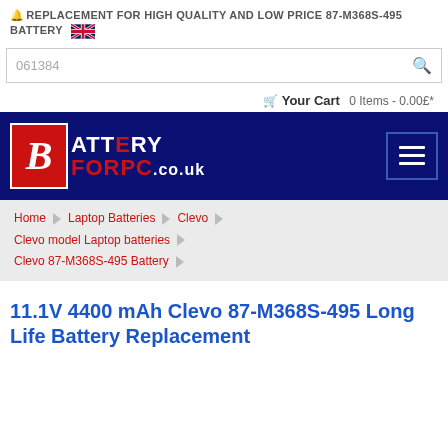🔔 REPLACEMENT FOR HIGH QUALITY AND LOW PRICE 87-M368S-495 BATTERY 🇬🇧
061384
🛒 Your Cart  0 Items - 0.00£*
[Figure (logo): BatteryForPC.co.uk logo with red B and blue/red text on dark navy background, hamburger menu button on right]
Home > Laptop Batteries > Clevo > Clevo model Laptop batteries > Clevo 87-M368S-495 Battery
11.1V 4400 mAh Clevo 87-M368S-495 Long Life Battery Replacement